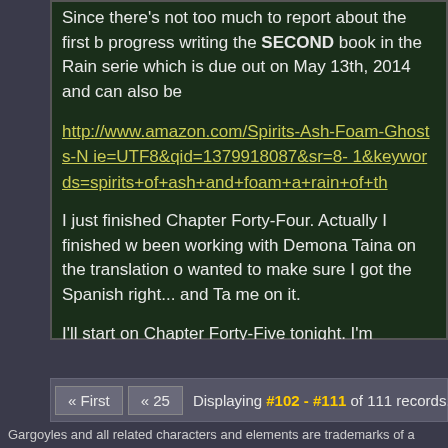Since there's not too much to report about the first b... progress writing the SECOND book in the Rain serie... which is due out on May 13th, 2014 and can also be
http://www.amazon.com/Spirits-Ash-Foam-Ghosts-N...ie=UTF8&qid=1379918087&sr=8-1&keywords=spirits+of+ash+and+foam+a+rain+of+th
I just finished Chapter Forty-Four. Actually I finished w... been working with Demona Taina on the translation o... wanted to make sure I got the Spanish right... and Ta... me on it.
I'll start on Chapter Forty-Five tonight. I'm definitely i
« First  « 25  Displaying #102 - #111 of 111 records.
Gargoyles and all related characters and elements are trademarks of a... Walt Disney Company. This web site is in no way affiliated with Buena V... views expressed within this web site do not reflect those of The Walt Di... copyright infringement is intended.